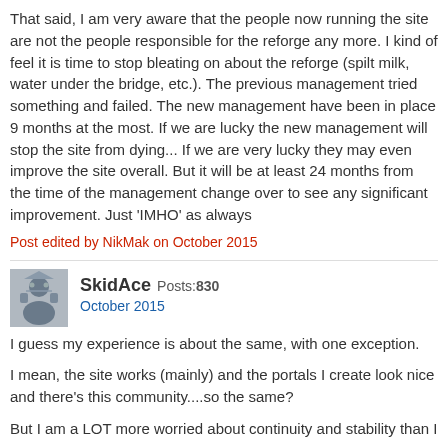That said, I am very aware that the people now running the site are not the people responsible for the reforge any more. I kind of feel it is time to stop bleating on about the reforge (spilt milk, water under the bridge, etc.). The previous management tried something and failed. The new management have been in place 9 months at the most. If we are lucky the new management will stop the site from dying... If we are very lucky they may even improve the site overall. But it will be at least 24 months from the time of the management change over to see any significant improvement. Just 'IMHO' as always
Post edited by NikMak on October 2015
SkidAce Posts: 830
October 2015
I guess my experience is about the same, with one exception.

I mean, the site works (mainly) and the portals I create look nice and there's this community....so the same?

But I am a LOT more worried about continuity and stability than I was.
ketherian Posts: 203
October 2015